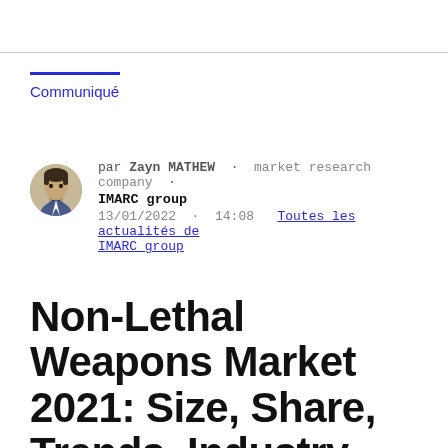Communiqué
par Zayn MATHEW · market research company · IMARC group
13/01/2022 · 14:08  Toutes les actualités de IMARC group
Non-Lethal Weapons Market 2021: Size, Share, Trends, Industry Growth and Forecast 2026